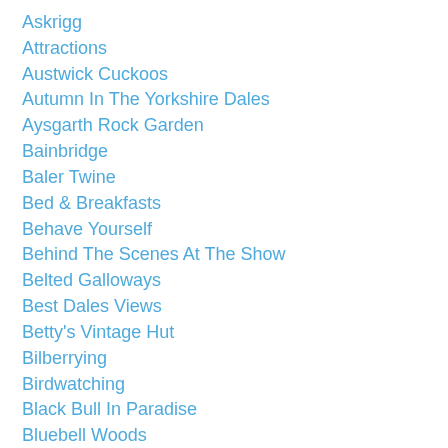Askrigg
Attractions
Austwick Cuckoos
Autumn In The Yorkshire Dales
Aysgarth Rock Garden
Bainbridge
Baler Twine
Bed & Breakfasts
Behave Yourself
Behind The Scenes At The Show
Belted Galloways
Best Dales Views
Betty's Vintage Hut
Bilberrying
Birdwatching
Black Bull In Paradise
Bluebell Woods
Blue Lion & Black Panther
Bolton Abbey & Stepping Stones
Bolton Castle